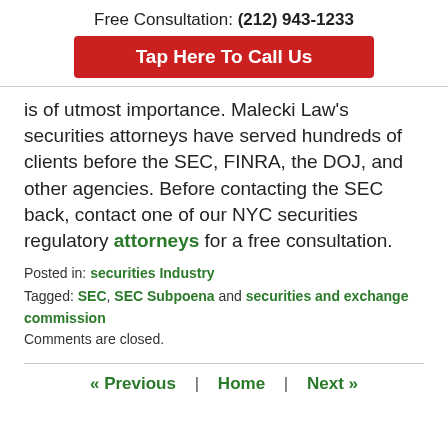Free Consultation: (212) 943-1233
Tap Here To Call Us
is of utmost importance. Malecki Law's securities attorneys have served hundreds of clients before the SEC, FINRA, the DOJ, and other agencies. Before contacting the SEC back, contact one of our NYC securities regulatory attorneys for a free consultation.
Posted in: securities Industry
Tagged: SEC, SEC Subpoena and securities and exchange commission
Comments are closed.
« Previous | Home | Next »